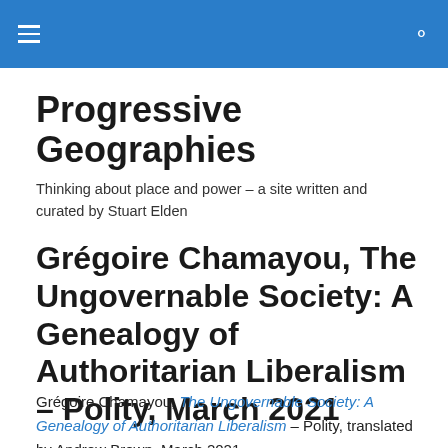Progressive Geographies [navigation header with hamburger menu and search icon]
Progressive Geographies
Thinking about place and power – a site written and curated by Stuart Elden
Grégoire Chamayou, The Ungovernable Society: A Genealogy of Authoritarian Liberalism – Polity, March 2021
Grégoire Chamayou, The Ungovernable Society: A Genealogy of Authoritarian Liberalism – Polity, translated by Andrew Brown, March 2021